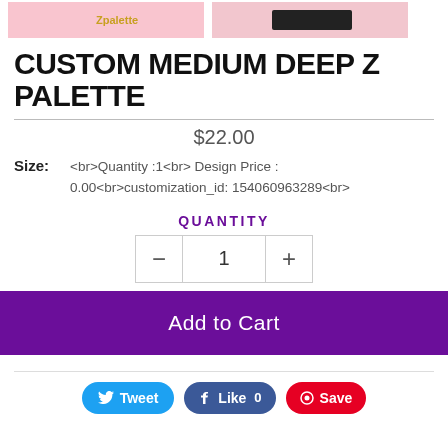[Figure (photo): Two product thumbnail images at top: left is pink background with illustrated figure and Z palette logo, right is pink background with a dark rectangular palette product.]
CUSTOM MEDIUM DEEP Z PALETTE
$22.00
Size: <br>Quantity :1<br> Design Price : 0.00<br>customization_id: 154060963289<br>
QUANTITY
1
Add to Cart
Tweet  Like 0  Save